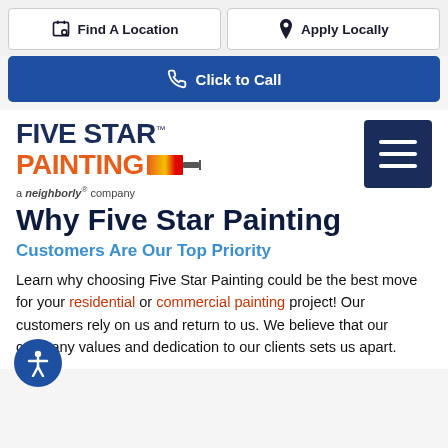Find A Location | Apply Locally
Click to Call
[Figure (logo): Five Star Painting logo with orange PAINTING text and paint brush icon, 'a neighborly company' tagline]
Why Five Star Painting
Customers Are Our Top Priority
Learn why choosing Five Star Painting could be the best move for your residential or commercial painting project! Our customers rely on us and return to us. We believe that our company values and dedication to our clients sets us apart.